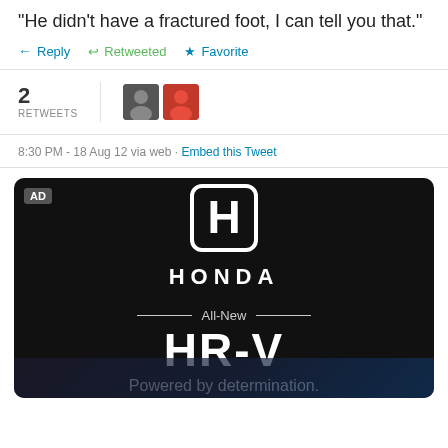"He didn't have a fractured foot, I can tell you that."
Reply  Retweeted  Favorite
2 RETWEETS
8:30 PM - 18 Aug 12 via web · Embed this Tweet
[Figure (screenshot): Honda HR-V advertisement on black background with Honda logo, 'All-New HR-V', and 'Powered by determination.' text]